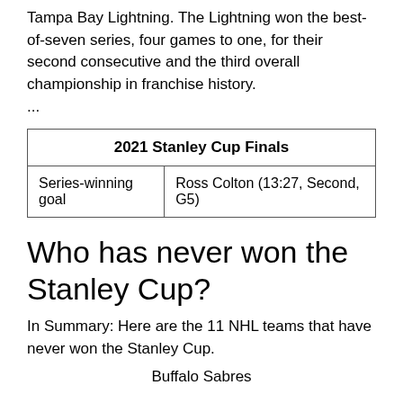Tampa Bay Lightning. The Lightning won the best-of-seven series, four games to one, for their second consecutive and the third overall championship in franchise history.
...
| 2021 Stanley Cup Finals |
| --- |
| Series-winning goal | Ross Colton (13:27, Second, G5) |
Who has never won the Stanley Cup?
In Summary: Here are the 11 NHL teams that have never won the Stanley Cup.
Buffalo Sabres